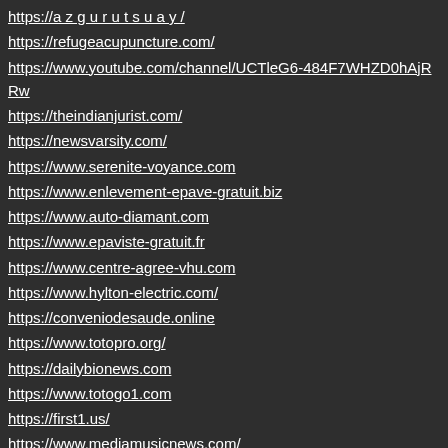https://refugeacupuncture.com/
https://www.youtube.com/channel/UCTleG6-484F7WHZD0hAjRRw
https://theindianjurist.com/
https://newsvarsity.com/
https://www.serenite-voyance.com
https://www.enlevement-epave-gratuit.biz
https://www.auto-diamant.com
https://www.epaviste-gratuit.fr
https://www.centre-agree-vhu.com
https://www.hylton-electric.com/
https://conveniodesaude.online
https://www.totopro.org/
https://dailybionews.com
https://www.totogo1.com
https://first1.us/
https://www.mediamusicnews.com/